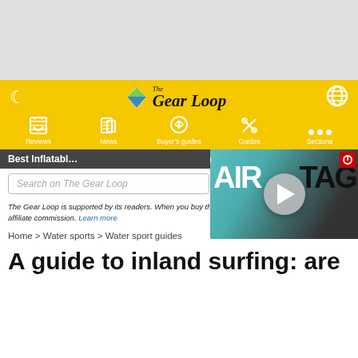[Figure (other): Gray advertisement placeholder rectangle at top of page]
The Gear Loop — navigation bar with Reviews, News, Buyer's guides, Guides, Sections
Best Inflatable…
[Figure (screenshot): Video overlay showing AirTag text with play button]
Search on The Gear Loop
The Gear Loop is supported by its readers. When you buy through links on our site, we may earn an affiliate commission. Learn more
Home > Water sports > Water sport guides
A guide to inland surfing: are